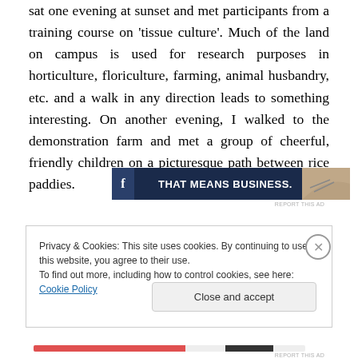sat one evening at sunset and met participants from a training course on 'tissue culture'. Much of the land on campus is used for research purposes in horticulture, floriculture, farming, animal husbandry, etc. and a walk in any direction leads to something interesting. On another evening, I walked to the demonstration farm and met a group of cheerful, friendly children on a picturesque path between rice paddies.
[Figure (screenshot): Advertisement banner with dark navy background, bold white text reading 'THAT MEANS BUSINESS.' and a partial image of hands on the right side. Small 'REPORT THIS AD' text below.]
Privacy & Cookies: This site uses cookies. By continuing to use this website, you agree to their use.
To find out more, including how to control cookies, see here: Cookie Policy
Close and accept